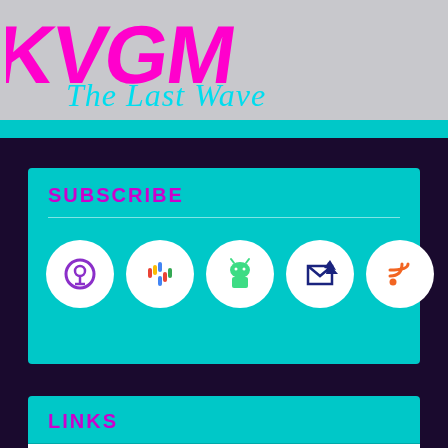[Figure (logo): KVGM The Last Wave logo with pink/magenta blocky KVGM text and cyan cursive 'The Last Wave' subtitle on gray background]
SUBSCRIBE
[Figure (infographic): Five circular white icons on teal background: Apple Podcasts (purple), Google Podcasts (colorful bars), Android/Podcast Addict (green robot), Send/Email (dark blue envelope with star), RSS feed (orange)]
LINKS
KVGM “The Last Wave” Merch!
8beats Radio